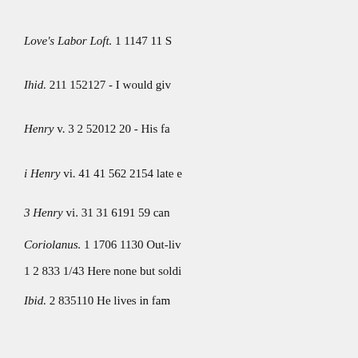Love's Labor Loft. 1 1147 11 S
Ihid. 211 152127 - I would giv
Henry v. 3 2 52012 20 - His fa
i Henry vi. 41 41 562 2154 late e
3 Henry vi. 31 31 6191 59 can
Coriolanus. 1 1706 1130 Out-liv
1 2 833 1/43 Here none but soldi
Ibid. 2 835110 He lives in fam
21 83557 - Away with him! he
2 Henry vi. 47 596240 We hav how Familiarity. I hope, upon fa
Coriolanus. 5 2 734253 Famir
Merry W. of Windjar. 1 48121
Macberb. 515 385 24 -0, I am
2 Henry iv.31 21 4912153 Yet